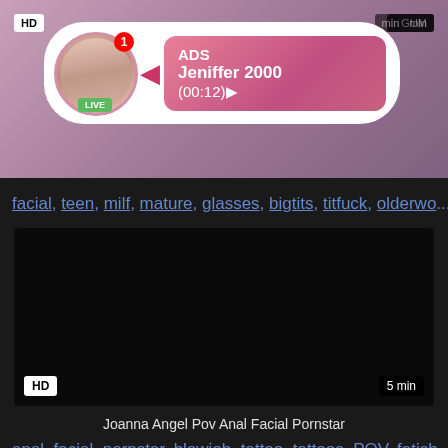[Figure (screenshot): Video thumbnail top area with purple/pink gradient background, HD badge top-left, duration top-right]
[Figure (infographic): Ad overlay popup with live user avatar, LIVE badge, red notification badge, pink arrow, and pink gradient ad box showing ADS Jeniffer 2000 (00:12)]
facial, teen, milf, mature, glasses, bigtits, titfuck, olderwo...
[Figure (screenshot): Dark/black video thumbnail for Joanna Angel Pov Anal Facial Pornstar with HD badge bottom-left and 5 min duration bottom-right]
Joanna Angel Pov Anal Facial Pornstar
anal, facial, pornstar, blowjob, tattoo, tattoos, POV, fetish...